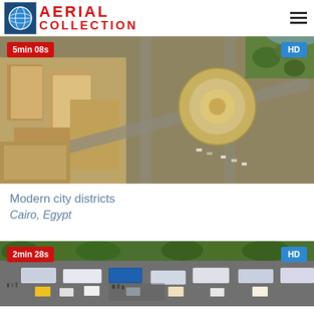AERIAL COLLECTION
[Figure (photo): Aerial view of Cairo city districts showing buildings, roads, roundabout and river with trees. Duration badge: 5min 08s. Quality badge: HD.]
Modern city districts
Cairo, Egypt
[Figure (photo): Aerial view of busy Cairo street with buses and traffic. Duration badge: 2min 28s. Quality badge: HD.]